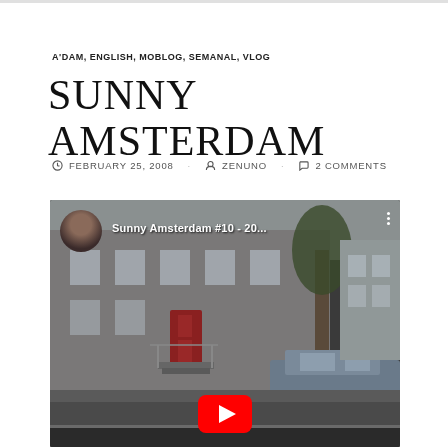A'DAM, ENGLISH, MOBLOG, SEMANAL, VLOG
SUNNY AMSTERDAM
FEBRUARY 25, 2008   ZENUNO   2 COMMENTS
[Figure (screenshot): YouTube video thumbnail showing a street scene in Amsterdam with a red door building and a parked car. Channel avatar visible top-left. Video title reads 'Sunny Amsterdam #10 - 20...' with a red YouTube play button at the bottom center.]